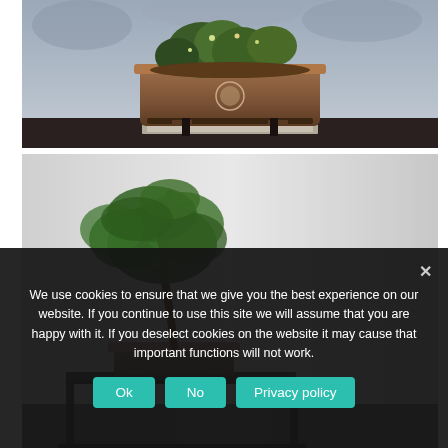[Figure (photo): Close-up photo of a bonsai tree in a brown rectangular pot on a dark display stand, with cloudy sky background]
[Figure (photo): Photo of a small green bonsai tree in a shallow pot on a display stand, light gray background, partially obscured by cookie banner]
We use cookies to ensure that we give you the best experience on our website. If you continue to use this site we will assume that you are happy with it. If you deselect cookies on the website it may cause that important functions will not work.